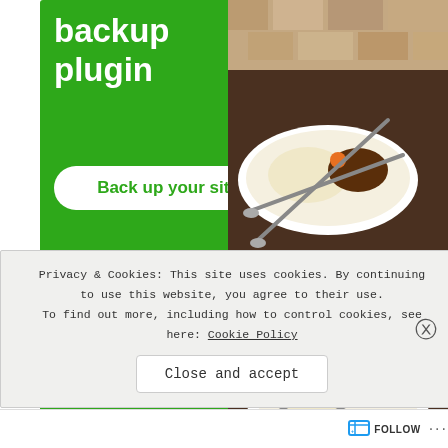[Figure (screenshot): WordPress backup plugin advertisement with green background showing white bold text reading 'backup plugin' and a white button 'Back up your site' with green text]
REPORT THIS AD
[Figure (photo): Food photo showing multiple white plates with rice and meat dishes on a dark tray with spoons]
For those unfamiliar with Tagalog word which is to s
ib om za
Privacy & Cookies: This site uses cookies. By continuing to use this website, you agree to their use. To find out more, including how to control cookies, see here: Cookie Policy
Close and accept
FOLLOW ...